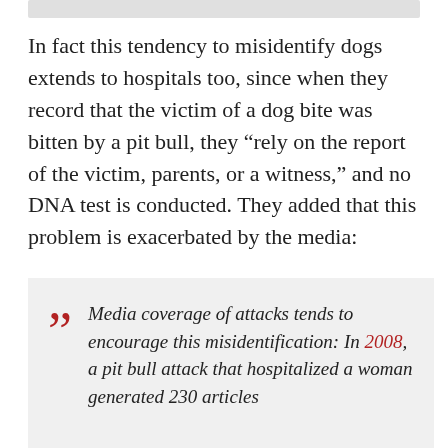In fact this tendency to misidentify dogs extends to hospitals too, since when they record that the victim of a dog bite was bitten by a pit bull, they “rely on the report of the victim, parents, or a witness,” and no DNA test is conducted. They added that this problem is exacerbated by the media:
Media coverage of attacks tends to encourage this misidentification: In 2008, a pit bull attack that hospitalized a woman generated 230 articles